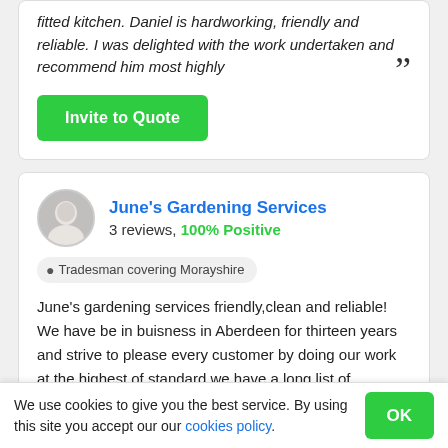fitted kitchen. Daniel is hardworking, friendly and reliable. I was delighted with the work undertaken and recommend him most highly
Invite to Quote
June's Gardening Services
3 reviews, 100% Positive
Tradesman covering Morayshire
June's gardening services friendly,clean and reliable! We have be in buisness in Aberdeen for thirteen years and strive to please every customer by doing our work at the highest of standard we have a long list of
We use cookies to give you the best service. By using this site you accept our our cookies policy.